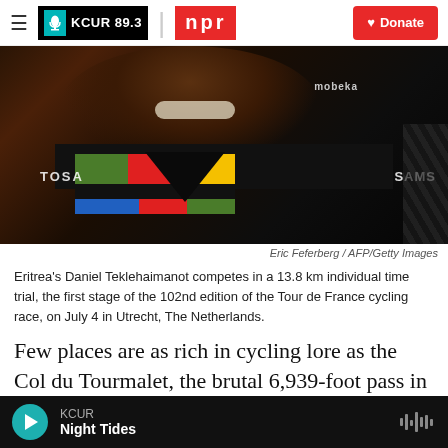KCUR 89.3 | npr | Donate
[Figure (photo): Photo of Eritrea's Daniel Teklehaimanot in cycling jersey with Mobeka branding, TOSA and SAMSUNG visible on jersey]
Eric Feferberg / AFP/Getty Images
Eritrea's Daniel Teklehaimanot competes in a 13.8 km individual time trial, the first stage of the 102nd edition of the Tour de France cycling race, on July 4 in Utrecht, The Netherlands.
Few places are as rich in cycling lore as the Col du Tourmalet, the brutal 6,939-foot pass in the French Pyrenees that has been a mainstay of the Tour de France since 1910. This is where history is written
KCUR — Night Tides